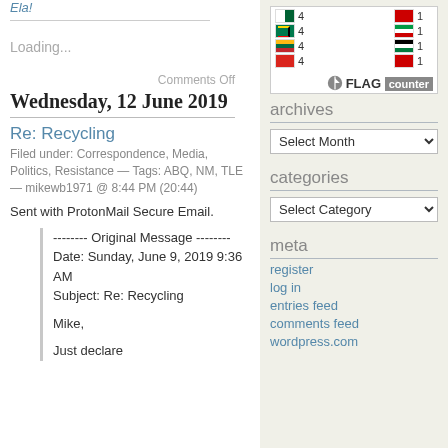Ela!
Loading...
[Figure (infographic): Flag counter widget showing flags with counts: 4, 4, 4, 4 on left; 1, 1, 1, 1 on right, with FLAG counter logo]
archives
Select Month dropdown
categories
Select Category dropdown
meta
register
log in
entries feed
comments feed
wordpress.com
Comments Off
Wednesday, 12 June 2019
Re: Recycling
Filed under: Correspondence, Media, Politics, Resistance — Tags: ABQ, NM, TLE — mikewb1971 @ 8:44 PM (20:44)
Sent with ProtonMail Secure Email.
-------- Original Message -------- Date: Sunday, June 9, 2019 9:36 AM Subject: Re: Recycling

Mike,

Just declare